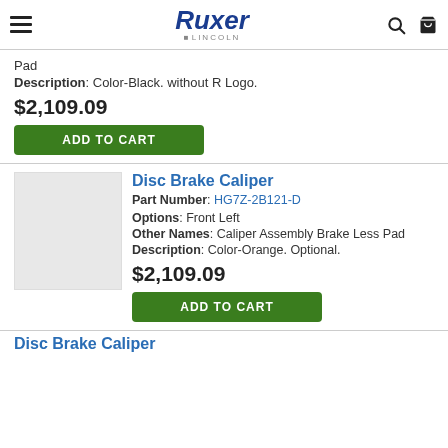Ruxer Ford Lincoln
Pad
Description: Color-Black. without R Logo.
$2,109.09
ADD TO CART
Disc Brake Caliper
Part Number: HG7Z-2B121-D
Options: Front Left
Other Names: Caliper Assembly Brake Less Pad
Description: Color-Orange. Optional.
$2,109.09
ADD TO CART
Disc Brake Caliper